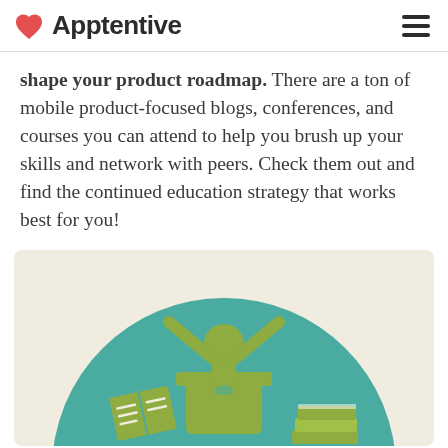Apptentive
shape your product roadmap. There are a ton of mobile product-focused blogs, conferences, and courses you can attend to help you brush up your skills and network with peers. Check them out and find the continued education strategy that works best for you!
[Figure (illustration): Illustration of a person with arms raised at a podium, surrounded by open books and a stack of books, on a teal circular background with olive/yellow-green colored figures, against a cream background.]